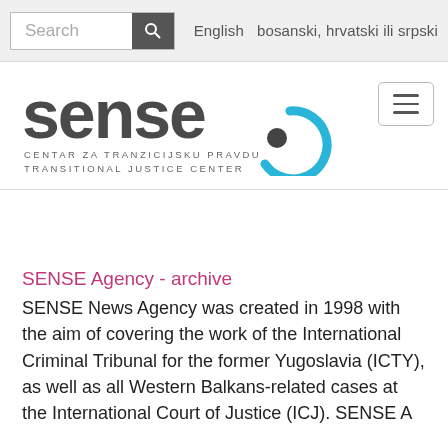Search   English   bosanski, hrvatski ili srpski
[Figure (logo): SENSE logo with text: sense, CENTAR ZA TRANZICIJSKU PRAVDU, TRANSITIONAL JUSTICE CENTER, with a circular blue/grey icon]
SENSE Agency - archive
SENSE News Agency was created in 1998 with the aim of covering the work of the International Criminal Tribunal for the former Yugoslavia (ICTY), as well as all Western Balkans-related cases at the International Court of Justice (ICJ). SENSE A...